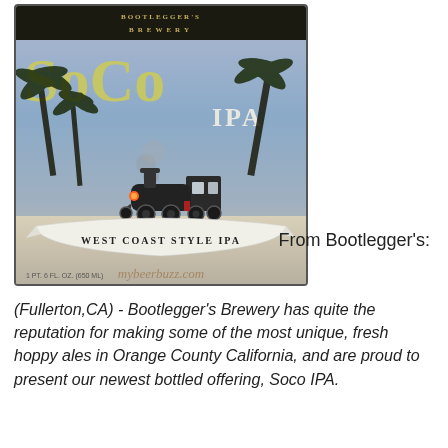[Figure (illustration): Beer label for Bootlegger's Brewery Soco IPA. Shows text 'SOCO IPA', 'WEST COAST STYLE IPA', a steam locomotive, palm trees, and watermark 'mybeerbuzz.com'. Bottom shows '1 PT. 6 FL. OZ. (650 ML)'.]
From Bootlegger's:
(Fullerton,CA) - Bootlegger's Brewery has quite the reputation for making some of the most unique, fresh hoppy ales in Orange County California, and are proud to present our newest bottled offering, Soco IPA.